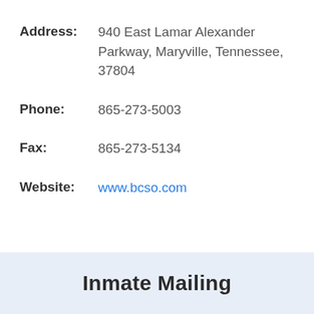Address: 940 East Lamar Alexander Parkway, Maryville, Tennessee, 37804
Phone: 865-273-5003
Fax: 865-273-5134
Website: www.bcso.com
Inmate Mailing